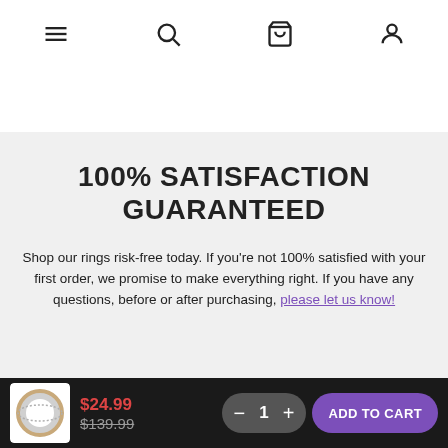Navigation bar with menu, search, cart, and account icons
100% SATISFACTION GUARANTEED
Shop our rings risk-free today. If you’re not 100% satisfied with your first order, we promise to make everything right. If you have any questions, before or after purchasing, please let us know!
$24.99  $139.99  1  ADD TO CART